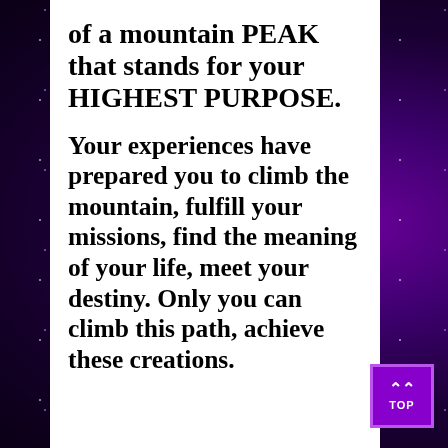of a mountain PEAK that stands for your HIGHEST PURPOSE.
Your experiences have prepared you to climb the mountain, fulfill your missions, find the meaning of your life, meet your destiny. Only you can climb this path, achieve these creations.